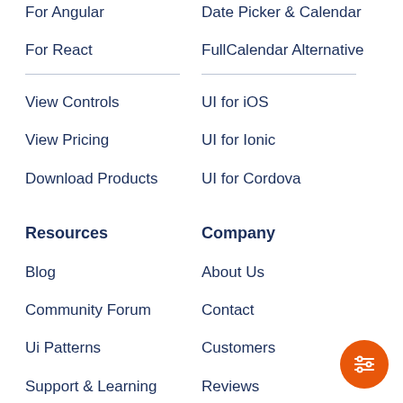For Angular
Date Picker & Calendar
For React
FullCalendar Alternative
View Controls
UI for iOS
View Pricing
UI for Ionic
Download Products
UI for Cordova
Resources
Company
Blog
About Us
Community Forum
Contact
Ui Patterns
Customers
Support & Learning
Reviews